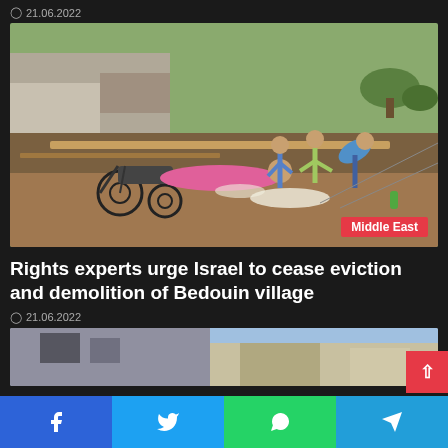21.06.2022
[Figure (photo): Aftermath of demolition of a Bedouin village, showing a person lying on rubble, a wheelchair, scattered belongings, and children standing amid debris. Red 'Middle East' badge in bottom-right corner.]
Rights experts urge Israel to cease eviction and demolition of Bedouin village
21.06.2022
[Figure (photo): Partially visible image of a damaged building, bottom of page.]